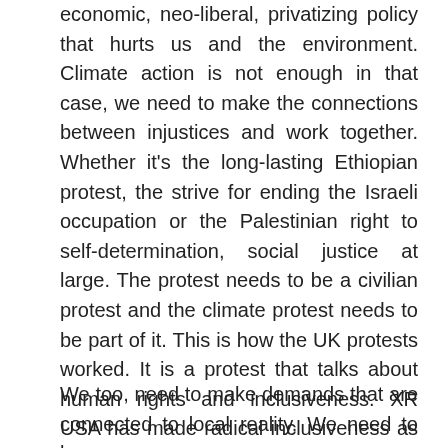economic, neo-liberal, privatizing policy that hurts us and the environment. Climate action is not enough in that case, we need to make the connections between injustices and work together. Whether it's the long-lasting Ethiopian protest, the strive for ending the Israeli occupation or the Palestinian right to self-determination, social justice at large. The protest needs to be a civilian protest and the climate protest needs to be part of it. This is how the UK protests worked. It is a protest that talks about human rights and inclusiveness. XR USA has made radical inclusiveness as part of the 3 basic demands made by XR UK.
We too, need to make demands that are connected to local reality. We need to be